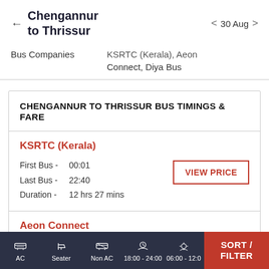Chengannur to Thrissur  ← | 30 Aug >
Bus Companies  KSRTC (Kerala), Aeon Connect, Diya Bus
CHENGANNUR TO THRISSUR BUS TIMINGS & FARE
KSRTC (Kerala)
First Bus - 00:01
Last Bus - 22:40
Duration - 12 hrs 27 mins
VIEW PRICE
Aeon Connect
First Bus - 19:50
AC  Seater  Non AC  18:00 - 24:00  06:00 - 12:00  SORT / FILTER